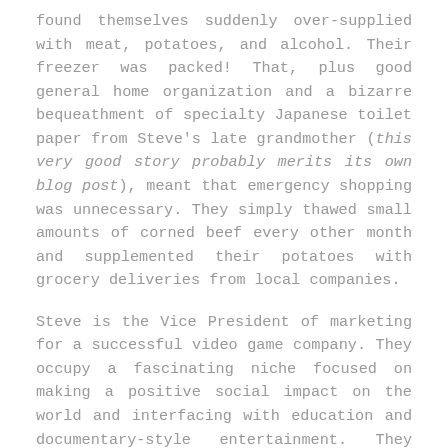found themselves suddenly over-supplied with meat, potatoes, and alcohol. Their freezer was packed! That, plus good general home organization and a bizarre bequeathment of specialty Japanese toilet paper from Steve's late grandmother (this very good story probably merits its own blog post), meant that emergency shopping was unnecessary. They simply thawed small amounts of corned beef every other month and supplemented their potatoes with grocery deliveries from local companies.
Steve is the Vice President of marketing for a successful video game company. They occupy a fascinating niche focused on making a positive social impact on the world and interfacing with education and documentary-style entertainment. They have earned prestigious awards for their efforts and were invited by the BBC to develop a game related to The Blue Planet series. Most of his job keeps him traveling frequently and networking with people by the thousands. When travel came to a